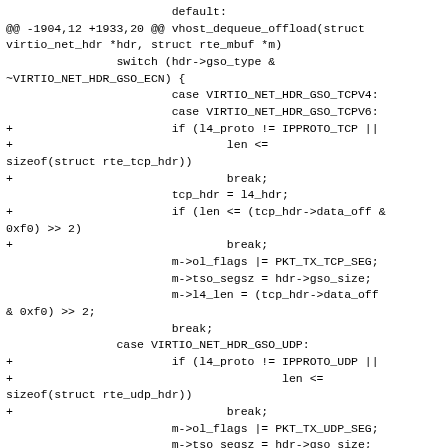default:
@@ -1904,12 +1933,20 @@ vhost_dequeue_offload(struct virtio_net_hdr *hdr, struct rte_mbuf *m)
        switch (hdr->gso_type &
~VIRTIO_NET_HDR_GSO_ECN) {
                case VIRTIO_NET_HDR_GSO_TCPV4:
                case VIRTIO_NET_HDR_GSO_TCPV6:
+                       if (l4_proto != IPPROTO_TCP ||
+                                       len <=
sizeof(struct rte_tcp_hdr))
+                               break;
                        tcp_hdr = l4_hdr;
+                       if (len <= (tcp_hdr->data_off &
0xf0) >> 2)
+                               break;
                        m->ol_flags |= PKT_TX_TCP_SEG;
                        m->tso_segsz = hdr->gso_size;
                        m->l4_len = (tcp_hdr->data_off
& 0xf0) >> 2;
                        break;
                case VIRTIO_NET_HDR_GSO_UDP:
+                       if (l4_proto != IPPROTO_UDP ||
+                                       len <=
sizeof(struct rte_udp_hdr))
+                               break;
                        m->ol_flags |= PKT_TX_UDP_SEG;
                        m->tso_segsz = hdr->gso_size;
                        m->l4_len = sizeof(struct
rte_udp_hdr);
--
2.17.1